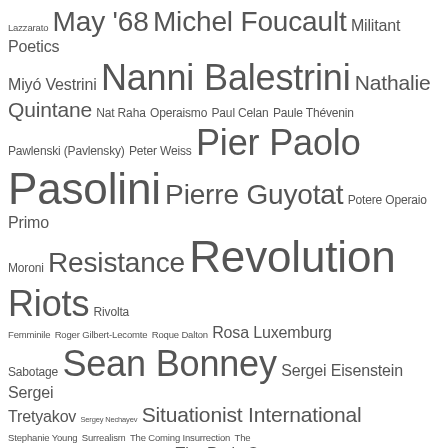[Figure (other): Tag cloud of names and topics related to radical politics, poetry, and critical theory. Includes names such as Lazzarato, May '68, Michel Foucault, Militant Poetics, Miyó Vestrini, Nanni Balestrini, Nathalie Quintane, Nat Raha, Operaismo, Paul Celan, Paule Thévenin, Pawlenski (Pavlensky), Peter Weiss, Pier Paolo Pasolini, Pierre Guyotat, Potere Operaio, Primo Moroni, Resistance, Revolution, Riots, Rivolta Femminile, Roger Gilbert-Lecomte, Roque Dalton, Rosa Luxemburg, Sabotage, Sean Bonney, Sergei Eisenstein, Sergei Tretyakov, Sergey Nechayev, Situationist International, Stephanie Young, Surrealism, The Coming Insurrection, The Invisible Committee, Theodor W. Adorno, The Paris Commune, The Strategy of Refusal, Tiqqun, Tongo Eisen-Martin, Velimir Khlebnikov.]